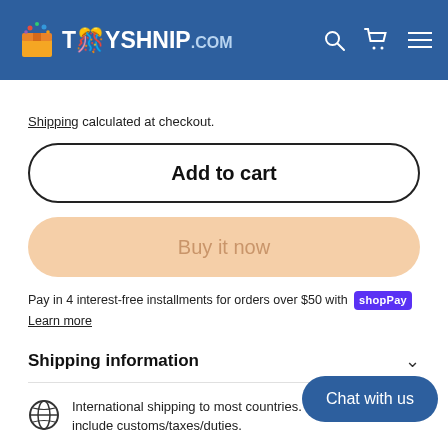TOYSHNIP.COM
Shipping calculated at checkout.
Add to cart
Buy it now
Pay in 4 interest-free installments for orders over $50 with shopPay
Learn more
Shipping information
International shipping to most countries. Price does not include customs/taxes/duties.